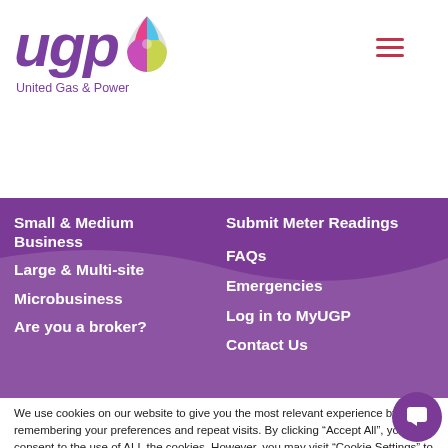[Figure (logo): UGP - United Gas & Power logo with stylized purple letters and colorful drop/flame icon]
Small & Medium Business
Large & Multi-site
Microbusiness
Are you a broker?
Submit Meter Readings
FAQs
Emergencies
Log in to MyUGP
Contact Us
We use cookies on our website to give you the most relevant experience by remembering your preferences and repeat visits. By clicking “Accept All”, you consent to the use of ALL the cookies. However, you may visit “Cookie Settings” to provide a controlled consent.
Cookie Settings | Accept All